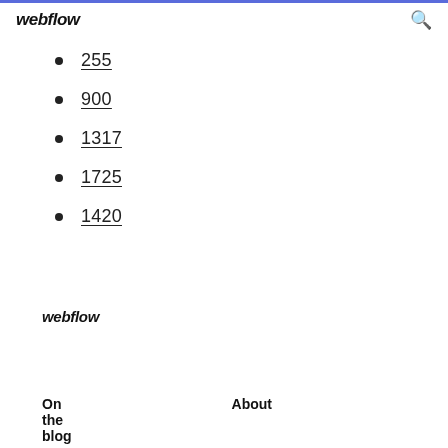webflow
255
900
1317
1725
1420
webflow
On the blog   About